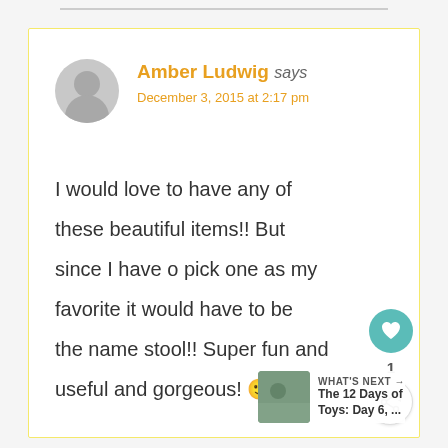Amber Ludwig says
December 3, 2015 at 2:17 pm
I would love to have any of these beautiful items!! But since I have o pick one as my favorite it would have to be the name stool!! Super fun and useful and gorgeous! 🙂